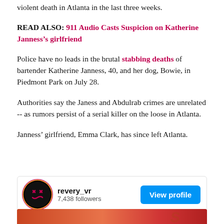violent death in Atlanta in the last three weeks.
READ ALSO: 911 Audio Casts Suspicion on Katherine Janness’s girlfriend
Police have no leads in the brutal stabbing deaths of bartender Katherine Janness, 40, and her dog, Bowie, in Piedmont Park on July 28.
Authorities say the Janess and Abdulrab crimes are unrelated -- as rumors persist of a serial killer on the loose in Atlanta.
Janness’ girlfriend, Emma Clark, has since left Atlanta.
[Figure (screenshot): Instagram-style profile bar showing revery_vr account with 7,438 followers and a blue View profile button]
[Figure (photo): Bottom portion of a reddish-orange image, partially visible]